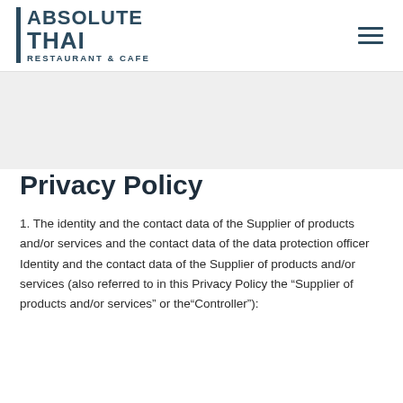ABSOLUTE THAI RESTAURANT & CAFE
Privacy Policy
1. The identity and the contact data of the Supplier of products and/or services and the contact data of the data protection officer Identity and the contact data of the Supplier of products and/or services (also referred to in this Privacy Policy the “Supplier of products and/or services” or the“Controller”):